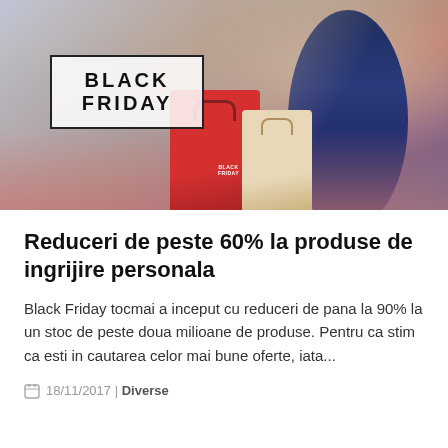[Figure (photo): Black Friday promotional hero image showing a woman holding a phone and shopping bags, with a 'BLACK FRIDAY' text box overlay in the upper left of the image.]
Reduceri de peste 60% la produse de ingrijire personala
Black Friday tocmai a inceput cu reduceri de pana la 90% la un stoc de peste doua milioane de produse. Pentru ca stim ca esti in cautarea celor mai bune oferte, iata...
18/11/2017 | Diverse